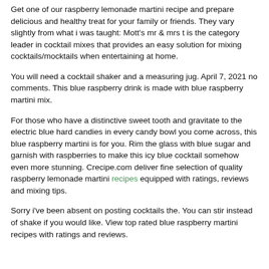Get one of our raspberry lemonade martini recipe and prepare delicious and healthy treat for your family or friends. They vary slightly from what i was taught: Mott's mr & mrs t is the category leader in cocktail mixes that provides an easy solution for mixing cocktails/mocktails when entertaining at home.
You will need a cocktail shaker and a measuring jug. April 7, 2021 no comments. This blue raspberry drink is made with blue raspberry martini mix.
For those who have a distinctive sweet tooth and gravitate to the electric blue hard candies in every candy bowl you come across, this blue raspberry martini is for you. Rim the glass with blue sugar and garnish with raspberries to make this icy blue cocktail somehow even more stunning. Crecipe.com deliver fine selection of quality raspberry lemonade martini recipes equipped with ratings, reviews and mixing tips.
Sorry i've been absent on posting cocktails the. You can stir instead of shake if you would like. View top rated blue raspberry martini recipes with ratings and reviews.